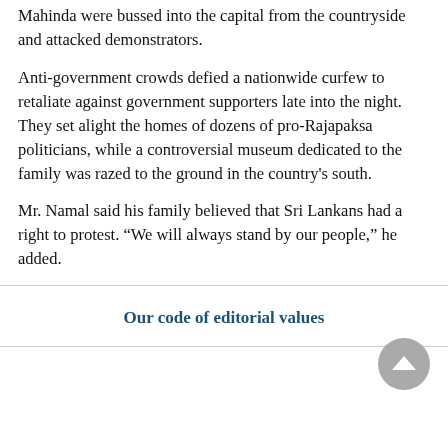Mahinda were bussed into the capital from the countryside and attacked demonstrators.
Anti-government crowds defied a nationwide curfew to retaliate against government supporters late into the night. They set alight the homes of dozens of pro-Rajapaksa politicians, while a controversial museum dedicated to the family was razed to the ground in the country's south.
Mr. Namal said his family believed that Sri Lankans had a right to protest. “We will always stand by our people,” he added.
Our code of editorial values